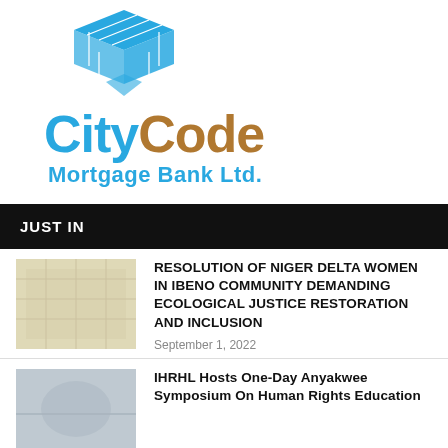[Figure (logo): CityCode Mortgage Bank Ltd. logo — blue geometric building/cube icon above large text: 'City' in blue, 'Code' in brown/tan, subtitle 'Mortgage Bank Ltd.' in blue bold]
JUST IN
RESOLUTION OF NIGER DELTA WOMEN IN IBENO COMMUNITY DEMANDING ECOLOGICAL JUSTICE RESTORATION AND INCLUSION
September 1, 2022
IHRHL Hosts One-Day Anyakwee Symposium On Human Rights Education